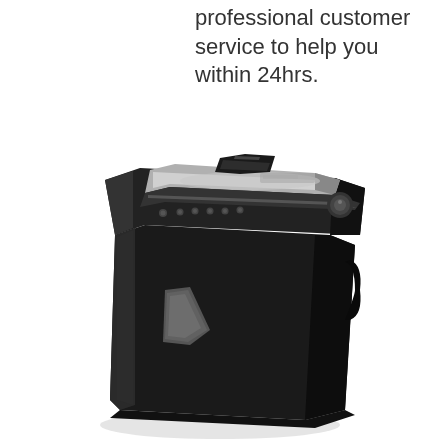professional customer service to help you within 24hrs.
[Figure (photo): A black paper shredder shown in a 3/4 angle view. The shredder has a black plastic body with a silver/chrome paper feed slot at the top, a carry handle, control buttons on the front panel, and a transparent window on the lower front. The unit casts a slight shadow on a white background.]